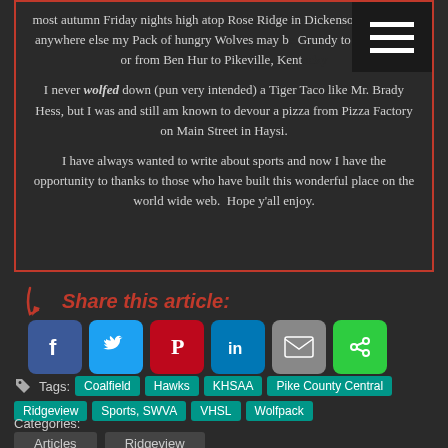most autumn Friday nights high atop Rose Ridge in Dickenson County or anywhere else my Pack of hungry Wolves may b... Grundy to Falcon Hill or from Ben Hur to Pikeville, Kent...
I never wolfed down (pun very intended) a Tiger Taco like Mr. Brady Hess, but I was and still am known to devour a pizza from Pizza Factory on Main Street in Haysi.
I have always wanted to write about sports and now I have the opportunity to thanks to those who have built this wonderful place on the world wide web.  Hope y'all enjoy.
Share this article:
Tags: Coalfield  Hawks  KHSAA  Pike County Central  Ridgeview  Sports, SWVA  VHSL  Wolfpack
Categories:
Articles   Ridgeview